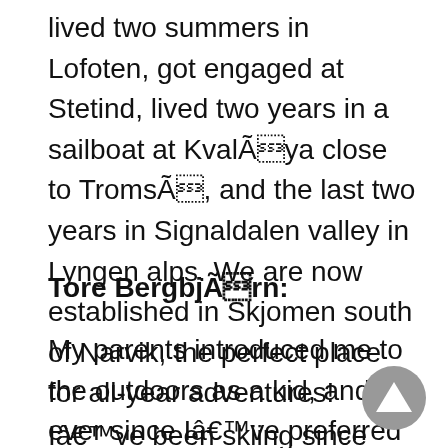lived two summers in Lofoten, got engaged at Stetind, lived two years in a sailboat at KvalÃ¸ya close to TromsÃ¸, and the last two years in Signaldalen valley in Lyngen alps. We are now established in Skjomen south of Narvik, the perfect place for all-year adventures!
Tore BergbjÃ¸rn:
My parents introduced me to the outdoors as a kid, and ever since Iâve preferred fresh air.
Iâve been skiing since little and also raced